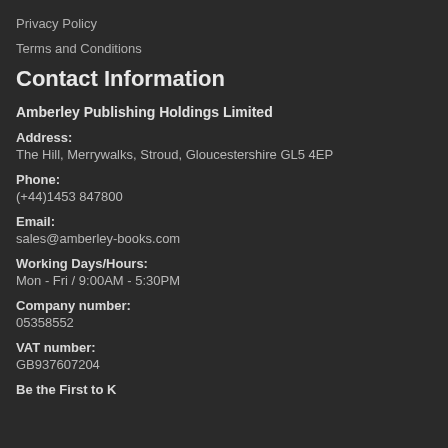Privacy Policy
Terms and Conditions
Contact Information
Amberley Publishing Holdings Limited
Address:
The Hill, Merrywalks, Stroud, Gloucestershire GL5 4EP
Phone:
(+44)1453 847800
Email:
sales@amberley-books.com
Working Days/Hours:
Mon - Fri / 9:00AM - 5:30PM
Company number:
05358552
VAT number:
GB937607204
Be the First to K...